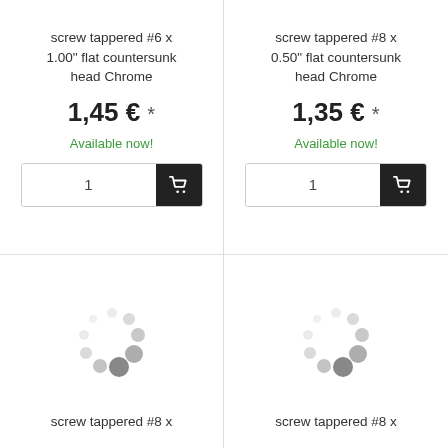screw tappered #6 x 1.00" flat countersunk head Chrome
1,45 € *
Available now!
screw tappered #8 x 0.50" flat countersunk head Chrome
1,35 € *
Available now!
[Figure (illustration): Loading spinner animation dots in gray]
[Figure (illustration): Loading spinner animation dots in gray]
screw tappered #8 x
screw tappered #8 x